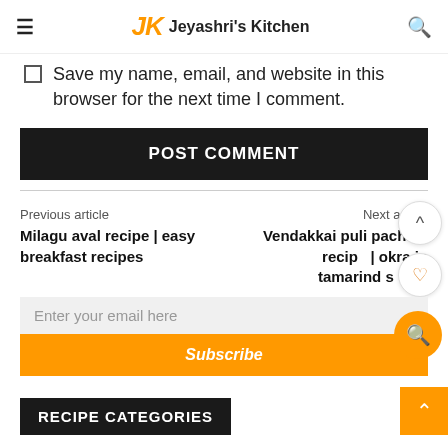Jeyashri's Kitchen
Save my name, email, and website in this browser for the next time I comment.
POST COMMENT
Previous article
Milagu aval recipe | easy breakfast recipes
Next article
Vendakkai puli pachadi recipe | okra in tamarind sauce
Enter your email here
Subscribe
RECIPE CATEGORIES